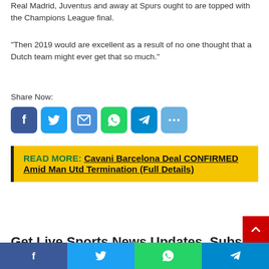Real Madrid, Juventus and away at Spurs ought to are topped with the Champions League final.
“Then 2019 would are excellent as a result of no one thought that a Dutch team might ever get that so much.”
Share Now:
[Figure (infographic): Social sharing icons: Facebook (blue), Twitter (light blue), Email (blue), WhatsApp (green), Telegram (blue), Share (light blue)]
READ MORE: Cavani Barcelona Deal CONFIRMED Amid Man Utd Termination (Full Details)
Get Live Sports News Updates. Subscribe
[Figure (infographic): Bottom social sharing bar: Facebook, Twitter, WhatsApp, Telegram icons]